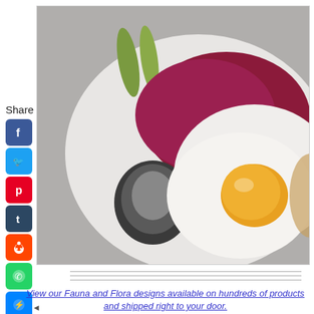[Figure (photo): Food photo showing a fried egg sunny side up on a bed of red/beet rice or grated beets, with a piece of grilled fish and two pickles/gherkins on a white plate]
Share
[Figure (infographic): Social share buttons column: Facebook, Twitter, Pinterest, Tumblr, Reddit, WhatsApp, Messenger]
View our Fauna and Flora designs available on hundreds of products and shipped right to your door.